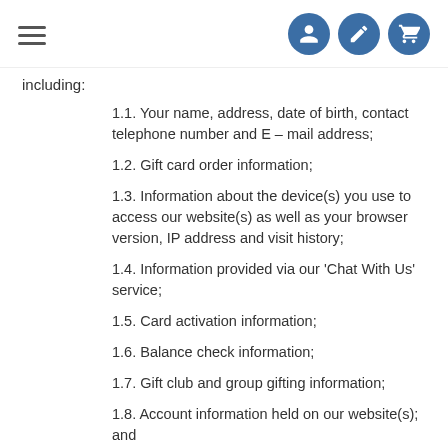[Navigation bar with hamburger menu and user/edit/cart icons]
including:
1.1. Your name, address, date of birth, contact telephone number and E – mail address;
1.2. Gift card order information;
1.3. Information about the device(s) you use to access our website(s) as well as your browser version, IP address and visit history;
1.4. Information provided via our 'Chat With Us' service;
1.5. Card activation information;
1.6. Balance check information;
1.7. Gift club and group gifting information;
1.8. Account information held on our website(s); and
1.9. Information provided in other interactions with our website(s).
2.Purposes for Collecting Personal Information